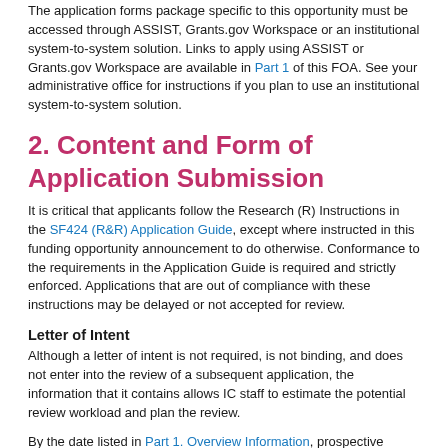The application forms package specific to this opportunity must be accessed through ASSIST, Grants.gov Workspace or an institutional system-to-system solution. Links to apply using ASSIST or Grants.gov Workspace are available in Part 1 of this FOA. See your administrative office for instructions if you plan to use an institutional system-to-system solution.
2. Content and Form of Application Submission
It is critical that applicants follow the Research (R) Instructions in the SF424 (R&R) Application Guide, except where instructed in this funding opportunity announcement to do otherwise. Conformance to the requirements in the Application Guide is required and strictly enforced. Applications that are out of compliance with these instructions may be delayed or not accepted for review.
Letter of Intent
Although a letter of intent is not required, is not binding, and does not enter into the review of a subsequent application, the information that it contains allows IC staff to estimate the potential review workload and plan the review.
By the date listed in Part 1. Overview Information, prospective